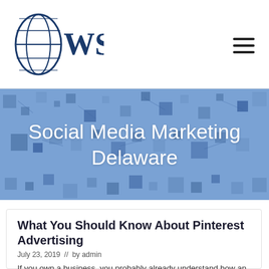WSI logo and navigation
Social Media Marketing Delaware
What You Should Know About Pinterest Advertising
July 23, 2019  //  by admin
If you own a business, you probably already understand how an established online presence can benefit your brand. Social media is not only a free tool